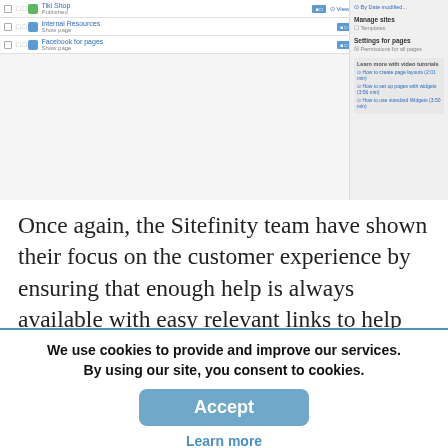[Figure (screenshot): Screenshot of a CMS page list interface showing rows with page titles (Tiki Shop - Published, Internal Resources - Show page, Facebook for pages - Show page), status indicators, action links, dates (27 Sep, 2011, Stan Padean), and a right sidebar with manage sites options, templates, settings for pages, permissions, and video tutorials]
Once again, the Sitefinity team have shown their focus on the customer experience by ensuring that enough help is always available with easy relevant links to help
We use cookies to provide and improve our services. By using our site, you consent to cookies.
Accept
Learn more